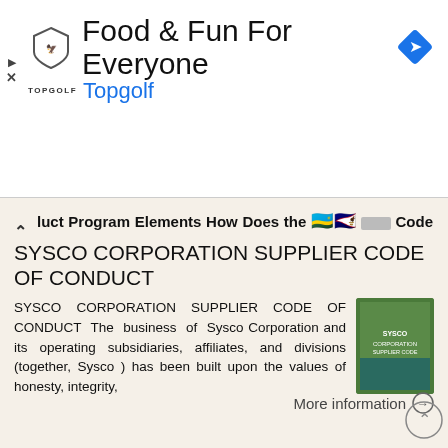[Figure (screenshot): Advertisement banner for Topgolf with logo, title 'Food & Fun For Everyone', brand name 'Topgolf' in blue, navigation arrow icon, and ad controls]
luct Program Elements How Does the [emoji flags] [small icon] Code Work?...4 Ethics and Compliance...5-6 Labor and
More information →
SYSCO CORPORATION SUPPLIER CODE OF CONDUCT
SYSCO CORPORATION SUPPLIER CODE OF CONDUCT The business of Sysco Corporation and its operating subsidiaries, affiliates, and divisions (together, Sysco ) has been built upon the values of honesty, integrity,
More information →